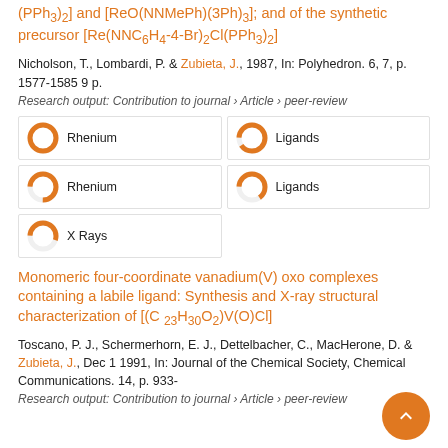(PPh3)2] and [ReO(NNMePh)(3Ph)3]; and of the synthetic precursor [Re(NNC6H4-4-Br)2Cl(PPh3)2]
Nicholson, T., Lombardi, P. & Zubieta, J., 1987, In: Polyhedron. 6, 7, p. 1577-1585 9 p.
Research output: Contribution to journal › Article › peer-review
[Figure (infographic): Five keyword badges: Rhenium (100%), Ligands (90%), Rhenium (75%), Ligands (65%), X Rays (55%) shown as donut chart icons with labels]
Monomeric four-coordinate vanadium(V) oxo complexes containing a labile ligand: Synthesis and X-ray structural characterization of [(C 23H30O2)V(O)Cl]
Toscano, P. J., Schermerhorn, E. J., Dettelbacher, C., MacHerone, D. & Zubieta, J., Dec 1 1991, In: Journal of the Chemical Society, Chemical Communications. 14, p. 933-
Research output: Contribution to journal › Article › peer-review